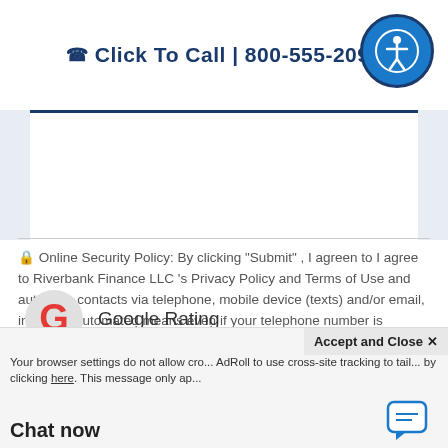Click To Call | 800-555-2098
Online Security Policy: By clicking "Submit" , I agreen to I agree to Riverbank Finance LLC 's Privacy Policy and Terms of Use and authorize contacts via telephone, mobile device (texts) and/or email, including automated means even if your telephone number is currently listed on any state, federal or corporate Do-Not-Call list. This no obligation inquiry does not constitute a mortgage application. To apply now or get immediate assistance, call us at 1-800-555-2098.
[Figure (logo): Google Rating logo with red G icon and star ratings, partially visible]
Accept and Close ×
Your browser settings do not allow cross-site tracking. AdRoll to use cross-site tracking to tailor ads for you. by clicking here. This message only ap...
Chat now